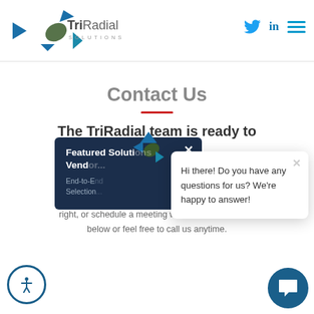[Figure (logo): TriRadial Solutions logo with stylized arrow/triangle shapes in blue, green, and dark tones]
[Figure (illustration): Navigation icons: Twitter bird, LinkedIn 'in', hamburger menu in teal/blue]
[Figure (illustration): Decorative concentric circles in blue and green, partially visible at top right]
Contact Us
The TriRadial team is ready to answer your questions.
For more information about our services or questions about how we can help your business, fill out the contact form at right, or schedule a meeting with Jean Garabedian below or feel free to call us anytime.
[Figure (screenshot): Featured Solutions popup overlay with dark navy background showing 'Vendor... End-to-End... Selection...' text]
[Figure (screenshot): Chat popup overlay: 'Hi there! Do you have any questions for us? We're happy to answer!']